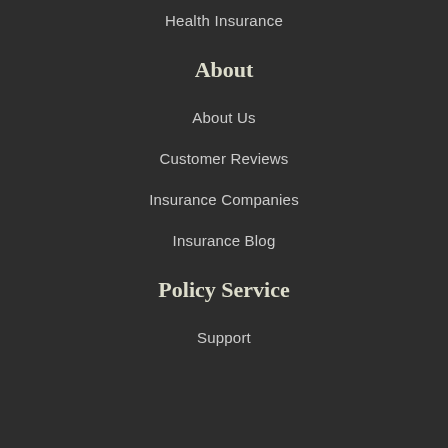Health Insurance
About
About Us
Customer Reviews
Insurance Companies
Insurance Blog
Policy Service
Support